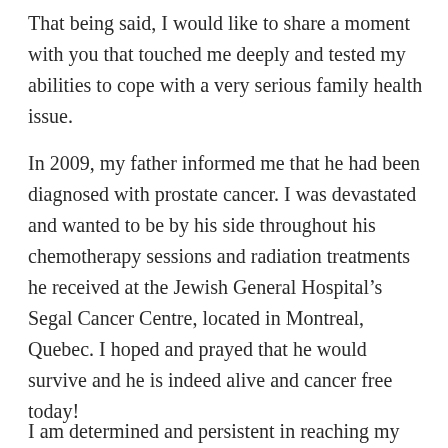That being said, I would like to share a moment with you that touched me deeply and tested my abilities to cope with a very serious family health issue.
In 2009, my father informed me that he had been diagnosed with prostate cancer. I was devastated and wanted to be by his side throughout his chemotherapy sessions and radiation treatments he received at the Jewish General Hospital's Segal Cancer Centre, located in Montreal, Quebec. I hoped and prayed that he would survive and he is indeed alive and cancer free today!
I am determined and persistent in reaching my goals,